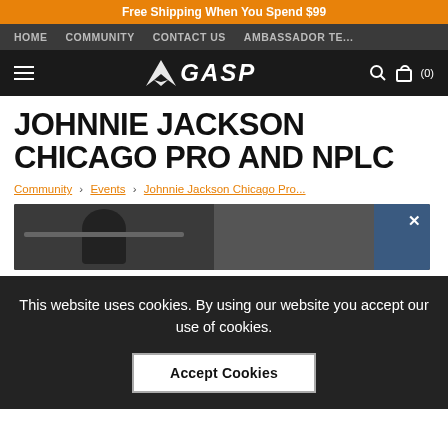Free Shipping When You Spend $99
HOME  COMMUNITY  CONTACT US  AMBASSADOR TE...
GASP logo, search, cart (0)
JOHNNIE JACKSON CHICAGO PRO AND NPLC
Community > Events > Johnnie Jackson Chicago Pro...
[Figure (photo): Photo of Johnnie Jackson lifting weights in a gym, partially visible]
This website uses cookies. By using our website you accept our use of cookies.
Accept Cookies